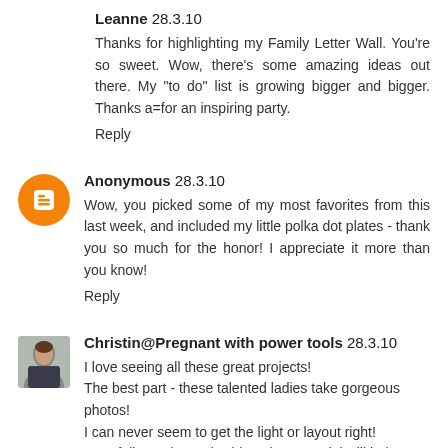Leanne 28.3.10
Thanks for highlighting my Family Letter Wall. You're so sweet. Wow, there's some amazing ideas out there. My "to do" list is growing bigger and bigger. Thanks a=for an inspiring party.
Reply
Anonymous 28.3.10
Wow, you picked some of my most favorites from this last week, and included my little polka dot plates - thank you so much for the honor! I appreciate it more than you know!
Reply
Christin@Pregnant with power tools 28.3.10
I love seeing all these great projects!
The best part - these talented ladies take gorgeous photos!
I can never seem to get the light or layout right! Hopefully Funky Junk's blog photo tutorial will help!!